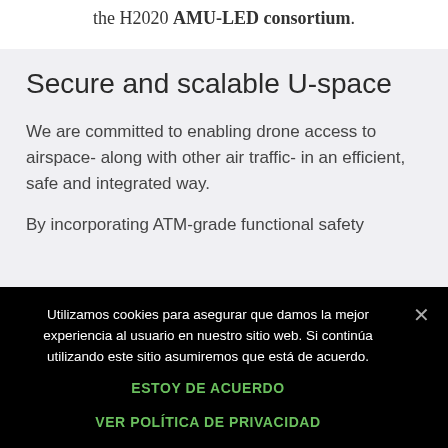the H2020 AMU-LED consortium.
Secure and scalable U-space
We are committed to enabling drone access to airspace- along with other air traffic- in an efficient, safe and integrated way.
By incorporating ATM-grade functional safety
Utilizamos cookies para asegurar que damos la mejor experiencia al usuario en nuestro sitio web. Si continúa utilizando este sitio asumiremos que está de acuerdo.
ESTOY DE ACUERDO
VER POLÍTICA DE PRIVACIDAD